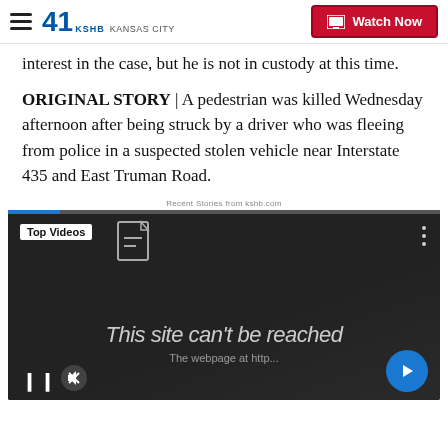41 KSHB KANSAS CITY | Watch Now
interest in the case, but he is not in custody at this time.
ORIGINAL STORY | A pedestrian was killed Wednesday afternoon after being struck by a driver who was fleeing from police in a suspected stolen vehicle near Interstate 435 and East Truman Road.
Recent Stories from kshb.com
[Figure (screenshot): Embedded video player showing 'Top Videos' label with a document icon, three-dot menu, paused video with 'This site can't be reached' error text, pause button, mute button, and next arrow button. Progress bar visible at top.]